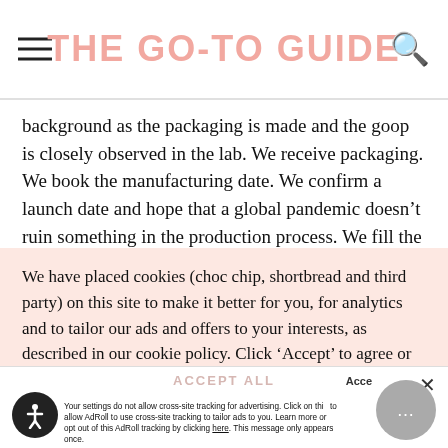THE GO-TO GUIDE
background as the packaging is made and the goop is closely observed in the lab. We receive packaging. We book the manufacturing date. We confirm a launch date and hope that a global pandemic doesn’t ruin something in the production process. We fill the packaging. We get them ready to ship. We
We have placed cookies (choc chip, shortbread and third party) on this site to make it better for you, for analytics and to tailor our ads and offers to your interests, as described in our cookie policy. Click ‘Accept’ to agree or ‘Preferences’ to review and customise your cookie settings. Learn More
PREFERENCES
ACCEPT ALL
Your settings do not allow cross-site tracking for advertising. Click on this to allow AdRoll to use cross-site tracking to tailor ads to you. Learn more or opt out of this AdRoll tracking by clicking here. This message only appears once.